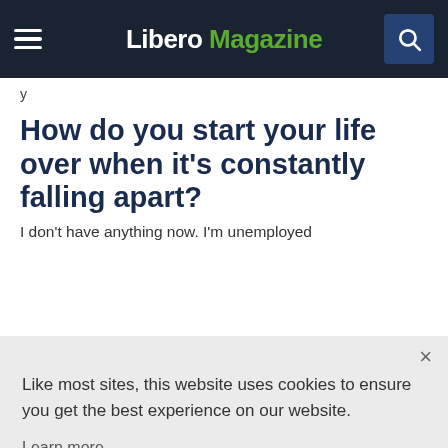Libero Magazine
How do you start your life over when it's constantly falling apart?
I don't have anything now. I'm unemployed
Like most sites, this website uses cookies to ensure you get the best experience on our website.
Learn more
Decline
Accept